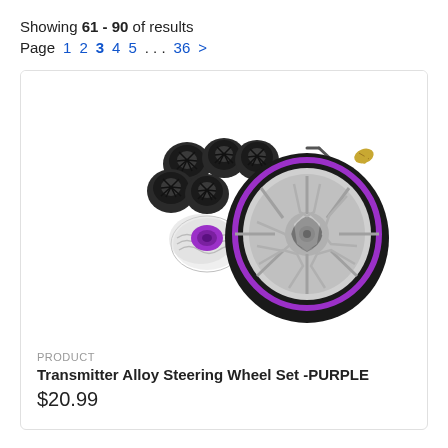Showing 61 - 90 of results
Page 1 2 3 4 5 . . . 36 >
[Figure (photo): Product photo of Transmitter Alloy Steering Wheel Set in purple color, showing a black foam tire on a chrome/purple alloy wheel rim, along with several black plastic hub adapters, a purple metallic steering wheel hub with chrome disc, an allen wrench, and a gold screw on white background.]
PRODUCT
Transmitter Alloy Steering Wheel Set -PURPLE
$20.99